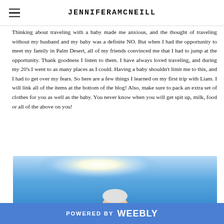JENNIFERAMCNEILL
Thinking about traveling with a baby made me anxious, and the thought of traveling without my husband and my baby was a definite NO. But when I had the opportunity to meet my family in Palm Desert, all of my friends convinced me that I had to jump at the opportunity. Thank goodness I listen to them. I have always loved traveling, and during my 20's I went to as many places as I could. Having a baby shouldn't limit me to this, and I had to get over my fears. So here are a few things I learned on my first trip with Liam. I will link all of the items at the bottom of the blog! Also, make sure to pack an extra set of clothes for you as well as the baby. You never know when you will get spit up, milk, food or all of the above on you!
[Figure (photo): Outdoor photo with bright sun in a blue sky and a baby's head visible at the bottom center of the frame]
POWERED BY weebly